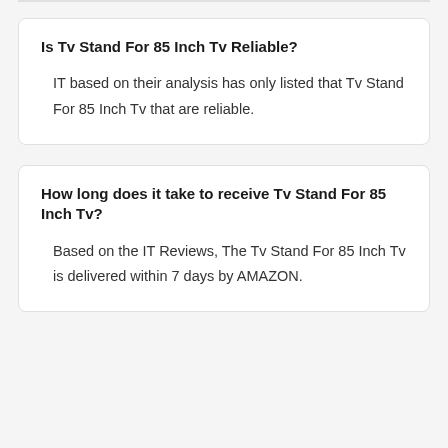Is Tv Stand For 85 Inch Tv Reliable?
IT based on their analysis has only listed that Tv Stand For 85 Inch Tv that are reliable.
How long does it take to receive Tv Stand For 85 Inch Tv?
Based on the IT Reviews, The Tv Stand For 85 Inch Tv is delivered within 7 days by AMAZON.